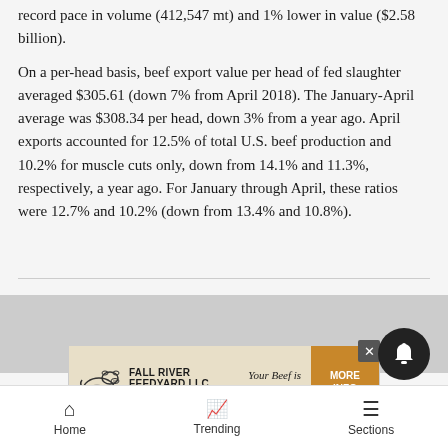record pace in volume (412,547 mt) and 1% lower in value ($2.58 billion).
On a per-head basis, beef export value per head of fed slaughter averaged $305.61 (down 7% from April 2018). The January-April average was $308.34 per head, down 3% from a year ago. April exports accounted for 12.5% of total U.S. beef production and 10.2% for muscle cuts only, down from 14.1% and 11.3%, respectively, a year ago. For January through April, these ratios were 12.7% and 10.2% (down from 13.4% and 10.8%).
[Figure (infographic): Advertisement banner for Fall River Feedyard LLC with cow illustration, company name, location (Hot Springs, SD | 605.745.4109), tagline 'Your Beef is Our Business!', and orange MORE INFO button]
Pork e... from a... %).
Home   Trending   Sections